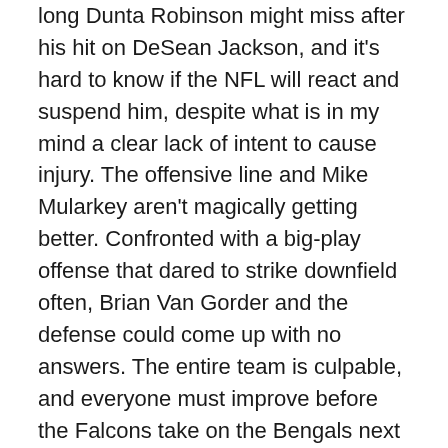long Dunta Robinson might miss after his hit on DeSean Jackson, and it's hard to know if the NFL will react and suspend him, despite what is in my mind a clear lack of intent to cause injury. The offensive line and Mike Mularkey aren't magically getting better. Confronted with a big-play offense that dared to strike downfield often, Brian Van Gorder and the defense could come up with no answers. The entire team is culpable, and everyone must improve before the Falcons take on the Bengals next weekend.
As grim as that sounds, the Falcons only have one or two more teams on their schedule who offer the Eagles' mix of punishing defense and dynamic offense. They're still 4-2, on top of the heap in the NFC South and our next game against the decent Bengals are followed by a bye week. We don't have to talk about